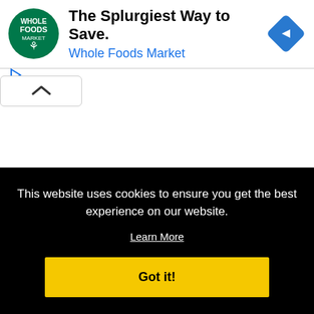[Figure (screenshot): Whole Foods Market ad banner with green circular logo, headline 'The Splurgiest Way to Save.', subheadline 'Whole Foods Market' in blue, and a blue diamond navigation icon on the right.]
[Figure (screenshot): Browser UI element: collapse/scroll-up button (caret up symbol) in a white rounded box, with play and close (X) icon controls to the left.]
This website uses cookies to ensure you get the best experience on our website.
Learn More
Got it!